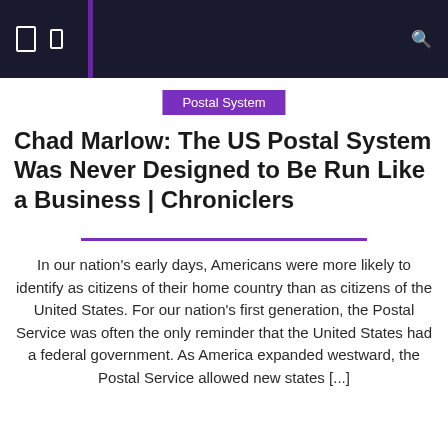Navigation bar with icons
Postal System
Chad Marlow: The US Postal System Was Never Designed to Be Run Like a Business | Chroniclers
In our nation's early days, Americans were more likely to identify as citizens of their home country than as citizens of the United States. For our nation's first generation, the Postal Service was often the only reminder that the United States had a federal government. As America expanded westward, the Postal Service allowed new states [...]
August 22, 2020  Walter M. Davis  Comments Off
[Figure (photo): Partial view of a mailbox or postal-related item with yellow flowering branches in the background and blue sky; a circular purple button with an icon overlaid in top-right corner]